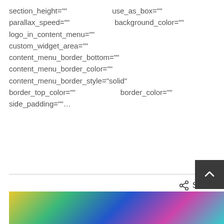section_height=""   use_as_box=""
parallax_speed=""   background_color=""
logo_in_content_menu=""
custom_widget_area=""
content_menu_border_bottom=""
content_menu_border_color=""
content_menu_border_style="solid"
border_top_color=""   border_color=""
side_padding=""...
/ tugay / 0 Comments / / 0 Likes
[Figure (illustration): Colorful abstract underwater or iridescent image at the bottom of the page]